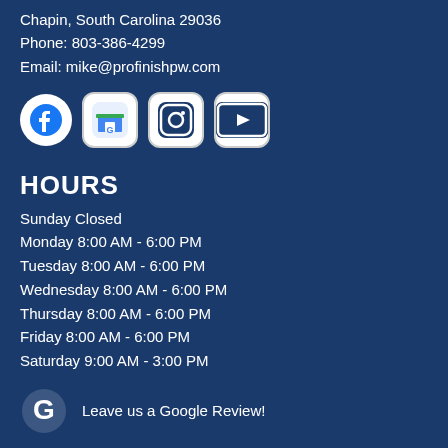Chapin, South Carolina 29036
Phone: 803-386-4299
Email: mike@profinishpw.com
[Figure (infographic): Row of social media icons: Facebook (circle), Google Maps (rounded square), Instagram (rounded square), YouTube (rounded rectangle)]
HOURS
Sunday Closed
Monday 8:00 AM - 6:00 PM
Tuesday 8:00 AM - 6:00 PM
Wednesday 8:00 AM - 6:00 PM
Thursday 8:00 AM - 6:00 PM
Friday 8:00 AM - 6:00 PM
Saturday 9:00 AM - 3:00 PM
Leave us a Google Review!